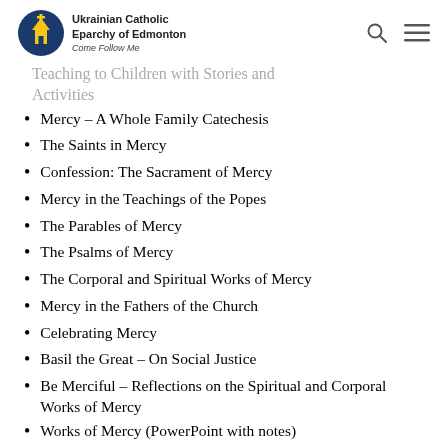Ukrainian Catholic Eparchy of Edmonton — Come Follow Me
Teaching to Children with Stories and Activities
Mercy – A Whole Family Catechesis
The Saints in Mercy
Confession: The Sacrament of Mercy
Mercy in the Teachings of the Popes
The Parables of Mercy
The Psalms of Mercy
The Corporal and Spiritual Works of Mercy
Mercy in the Fathers of the Church
Celebrating Mercy
Basil the Great – On Social Justice
Be Merciful – Reflections on the Spiritual and Corporal Works of Mercy
Works of Mercy (PowerPoint with notes)